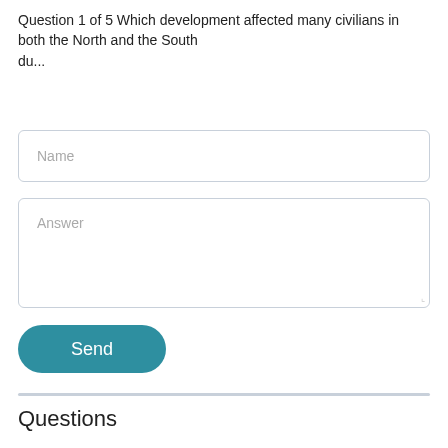Question 1 of 5 Which development affected many civilians in both the North and the South du...
Name
Answer
Send
Questions
Health, 21.06.2019 18:20
Don recorded his food intake for a week and then used a computerized dietary analysis program to analyze his diet. according to the results of the ana...